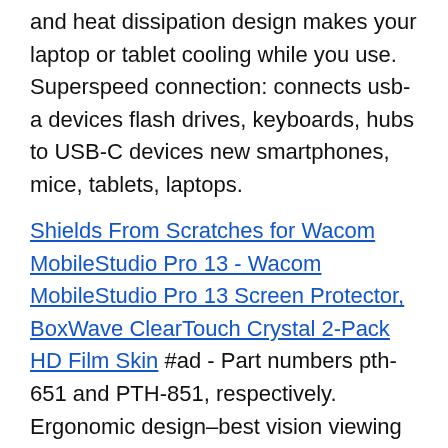and heat dissipation design makes your laptop or tablet cooling while you use. Superspeed connection: connects usb-a devices flash drives, keyboards, hubs to USB-C devices new smartphones, mice, tablets, laptops.
Shields From Scratches for Wacom MobileStudio Pro 13 - Wacom MobileStudio Pro 13 Screen Protector, BoxWave ClearTouch Crystal 2-Pack HD Film Skin #ad - Part numbers pth-651 and PTH-851, respectively. Ergonomic design–best vision viewing angle, 17, 19, 37 and 39°. It's necessary to use this ergonomic digital drawing tablet stand to reduce your neck, 6 different angle adjustments 15, 35, shoulder and back tension. Compatibility–it perfect fits any 9" ~ 12" laptop.